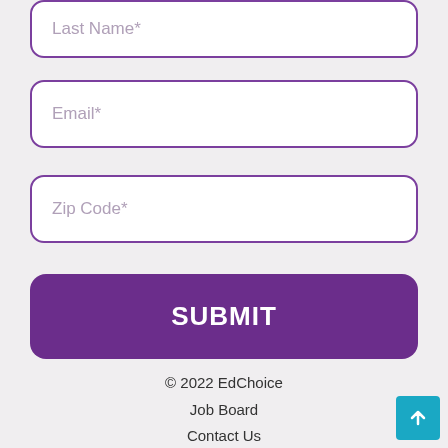Last Name*
Email*
Zip Code*
SUBMIT
© 2022 EdChoice
Job Board
Contact Us